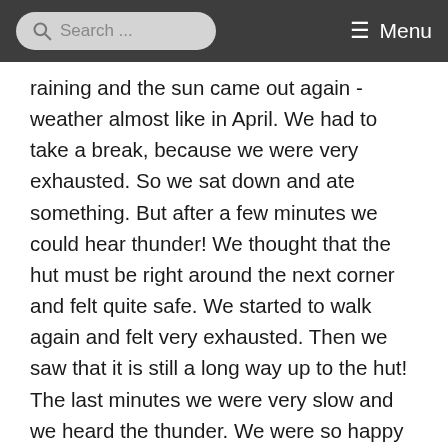Search ... Menu
raining and the sun came out again - weather almost like in April. We had to take a break, because we were very exhausted. So we sat down and ate something. But after a few minutes we could hear thunder! We thought that the hut must be right around the next corner and felt quite safe. We started to walk again and felt very exhausted. Then we saw that it is still a long way up to the hut! The last minutes we were very slow and we heard the thunder. We were so happy when we reached the hut!! The Rifugio Carducci is a really nice hut. The owner is a nice and funny man! We sat down, a nice cappucino, learned some words in Italian and enjoyed the view around. When we had dinner the other three man arrived -